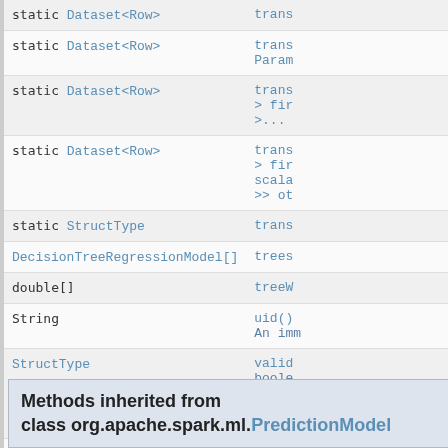| Type | Method/Description |
| --- | --- |
| static Dataset<Row> | trans |
| static Dataset<Row> | trans
Param |
| static Dataset<Row> | trans
> fir
>... |
| static Dataset<Row> | trans
> fir
scala
>> ot |
| static StructType | trans |
| DecisionTreeRegressionModel[] | trees |
| double[] | treeW |
| String | uid()
An imm |
| StructType | valid
boole
Validat
provide |
| static void | valid |
| MLWriter | write
Return |
Methods inherited from class org.apache.spark.ml.PredictionModel